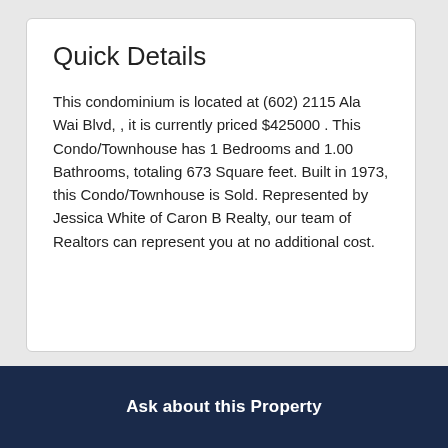Quick Details
This condominium is located at (602) 2115 Ala Wai Blvd, , it is currently priced $425000 . This Condo/Townhouse has 1 Bedrooms and 1.00 Bathrooms, totaling 673 Square feet. Built in 1973, this Condo/Townhouse is Sold. Represented by Jessica White of Caron B Realty, our team of Realtors can represent you at no additional cost.
Ask about this Property